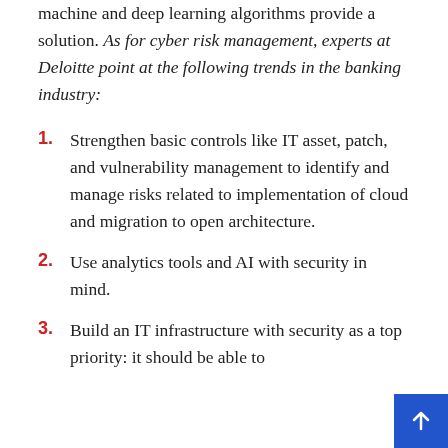machine and deep learning algorithms provide a solution. As for cyber risk management, experts at Deloitte point at the following trends in the banking industry:
1. Strengthen basic controls like IT asset, patch, and vulnerability management to identify and manage risks related to implementation of cloud and migration to open architecture.
2. Use analytics tools and AI with security in mind.
3. Build an IT infrastructure with security as a top priority: it should be able to